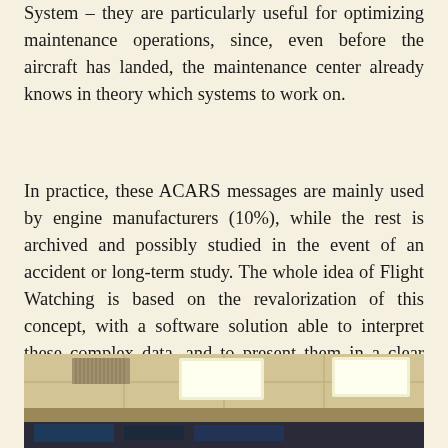System – they are particularly useful for optimizing maintenance operations, since, even before the aircraft has landed, the maintenance center already knows in theory which systems to work on.
In practice, these ACARS messages are mainly used by engine manufacturers (10%), while the rest is archived and possibly studied in the event of an accident or long-term study. The whole idea of Flight Watching is based on the revalorization of this concept, with a software solution able to interpret these complex data, and to present them in a clear and oriented way, according to the required application. Thus, an airline can have a digital dashboard of the status of the systems of its entire air fleet, remotely and instantly.
[Figure (photo): Interior photo of what appears to be an office or operations center, showing ceiling with recessed lights and ventilation, and dark monitor/equipment area at the bottom.]